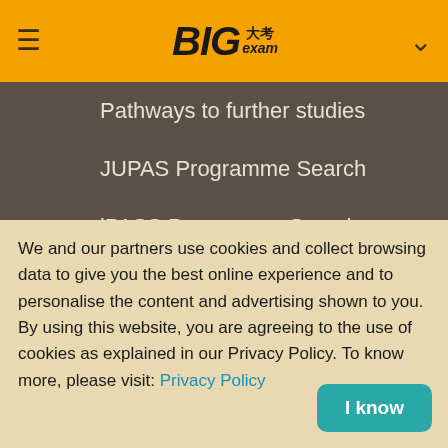[Figure (logo): BIGexam logo with Chinese characters 大考 on orange header bar, with hamburger menu icon on left and chevron on right]
Pathways to further studies
JUPAS Programme Search
iPASS Programme Search
Diploma Yi Jin
毅進文憑課程
Overseas study
Statistics
We and our partners use cookies and collect browsing data to give you the best online experience and to personalise the content and advertising shown to you. By using this website, you are agreeing to the use of cookies as explained in our Privacy Policy. To know more, please visit: Privacy Policy